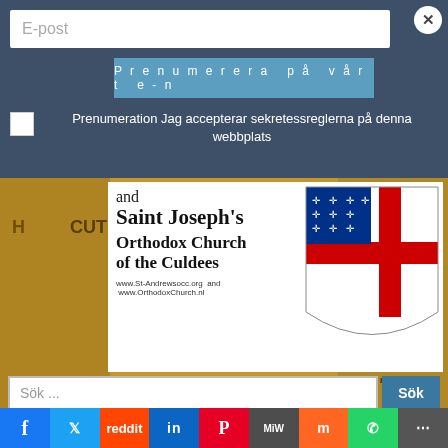E-post
Prenumerera på vårt e-n
Prenumeration Jag accepterar sekretessreglerna på denna webbplats
[Figure (photo): Saint Joseph's Orthodox Church of the Culdees banner with Episcopal cross flag and mosaic of saints including Cuthbert, Adamnan, Columba, Aidan, Brude, Kent]
and Saint Joseph's Orthodox Church of the Culdees www.St-Andrewsocc.org and www.OrthodoxChurch.nl
Sök ...
Sök
[Figure (infographic): Hamburger menu icon (three horizontal lines)]
[Figure (infographic): Social media share bar with icons: Facebook (f), Twitter bird, Reddit alien, LinkedIn (in), Pinterest (P), MeWe (MW), Mix (m), WhatsApp, Share]